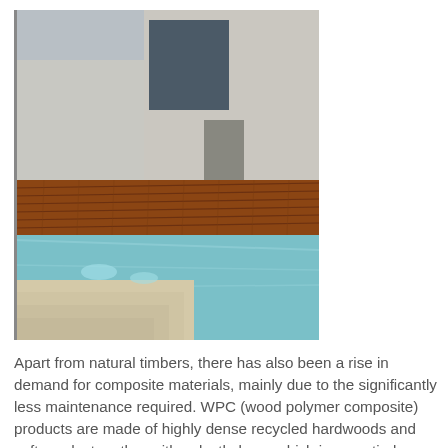[Figure (photo): Outdoor wooden deck beside a swimming pool with steps, adjacent to a modern building with large windows.]
Apart from natural timbers, there has also been a rise in demand for composite materials, mainly due to the significantly less maintenance required. WPC (wood polymer composite) products are made of highly dense recycled hardwoods and softwoods, together with polyethylene, which is an entirely degradable PVC substitute. Technologically advanced composites also have a protective shield around the inner core, providing extra protection against stains, aesthetic deterioration, fading, mould, decomposition, cracks and splits. Whilst there is no denying that real timbers do look superior in terms of aesthetics, advanced technology has made it possible to